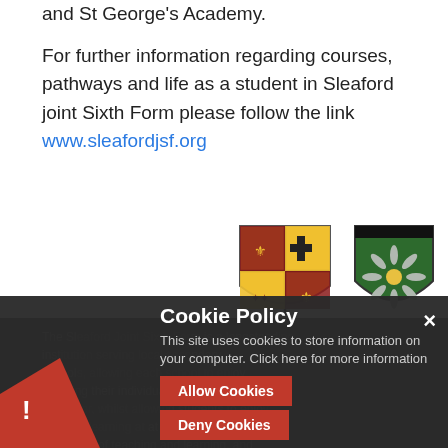and St George's Academy.
For further information regarding courses, pathways and life as a student in Sleaford joint Sixth Form please follow the link www.sleafordjsf.org
[Figure (logo): Three logos: a heraldic shield (quartered yellow/red with black cross), a green shield with a grey daisy flower, and a red knight on horseback.]
The Sl...m is a longstand... inst...dary school...oy retaining their individuality and unique charac...g students to enjo... ryth...at each site. High st...of teaching and learning, and
Cookie Policy
This site uses cookies to store information on your computer. Click here for more information
Allow Cookies
Deny Cookies